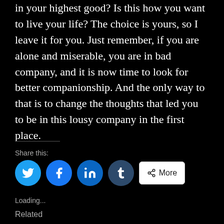in your highest good? Is this how you want to live your life? The choice is yours, so I leave it for you. Just remember, if you are alone and miserable, you are in bad company, and it is now time to look for better companionship. And the only way to that is to change the thoughts that led you to be in this lousy company in the first place.
Share this:
[Figure (infographic): Social sharing buttons: Twitter (blue circle), Facebook (blue circle), LinkedIn (blue circle), Tumblr (dark blue circle), More (white rounded rectangle button with share icon)]
Loading...
Related